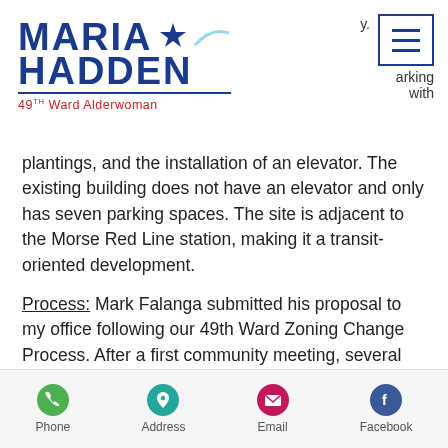[Figure (logo): Maria Hadden 49th Ward Alderwoman logo with hamburger menu icon and partial text 'y. arking with']
plantings, and the installation of an elevator. The existing building does not have an elevator and only has seven parking spaces. The site is adjacent to the Morse Red Line station, making it a transit-oriented development.
Process: Mark Falanga submitted his proposal to my office following our 49th Ward Zoning Change Process. After a first community meeting, several concerns were raised by
Phone  Address  Email  Facebook